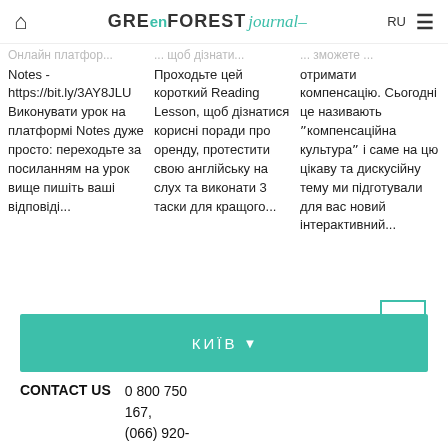GREen FOREST journal — RU
Notes - https://bit.ly/3AY8JLU Виконувати урок на платформі Notes дуже просто: переходьте за посиланням на урок вище пишіть ваші відповіді...
Проходьте цей короткий Reading Lesson, щоб дізнатися корисні поради про оренду, протестити свою англійську на слух та виконати 3 таски для кращого...
отримати компенсацію. Сьогодні це називають ˮкомпенсаційна культураˮ і саме на цю цікаву та дискусійну тему ми підготували для вас новий інтерактивний...
КИЇВ
CONTACT US  0 800 750 167, (066) 920-